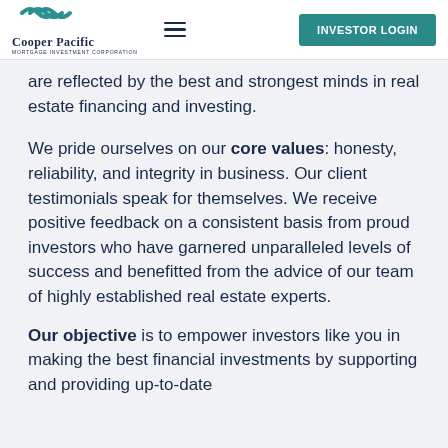Cooper Pacific Mortgage Investment Corporation — INVESTOR LOGIN
are reflected by the best and strongest minds in real estate financing and investing.
We pride ourselves on our core values: honesty, reliability, and integrity in business. Our client testimonials speak for themselves. We receive positive feedback on a consistent basis from proud investors who have garnered unparalleled levels of success and benefitted from the advice of our team of highly established real estate experts.
Our objective is to empower investors like you in making the best financial investments by supporting and providing up-to-date [content continues]